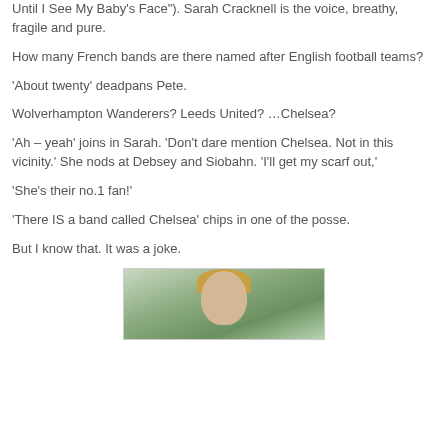Until I See My Baby’s Face”). Sarah Cracknell is the voice, breathy, fragile and pure.
How many French bands are there named after English football teams?
‘About twenty’ deadpans Pete.
Wolverhampton Wanderers? Leeds United? …Chelsea?
‘Ah – yeah’ joins in Sarah. ‘Don’t dare mention Chelsea. Not in this vicinity.’ She nods at Debsey and Siobahn. ‘I’ll get my scarf out,’
‘She’s their no.1 fan!’
‘There IS a band called Chelsea’ chips in one of the posse.
But I know that. It was a joke.
[Figure (photo): Photo of a person with blonde hair against a green bokeh background, cropped at the top of the page.]